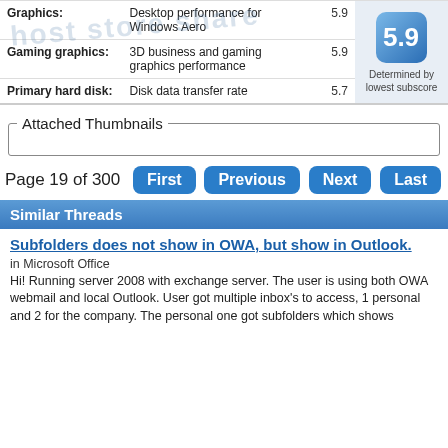|  |  |  |  |
| --- | --- | --- | --- |
| Graphics: | Desktop performance for Windows Aero | 5.9 | Determined by lowest subscore |
| Gaming graphics: | 3D business and gaming graphics performance | 5.9 |  |
| Primary hard disk: | Disk data transfer rate | 5.7 |  |
Attached Thumbnails
Page 19 of 300
Similar Threads
Subfolders does not show in OWA, but show in Outlook.
in Microsoft Office
Hi! Running server 2008 with exchange server. The user is using both OWA webmail and local Outlook. User got multiple inbox's to access, 1 personal and 2 for the company. The personal one got subfolders which shows